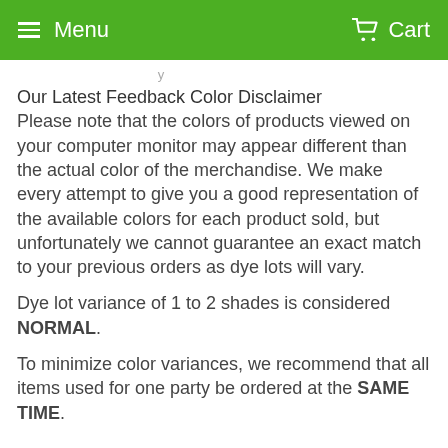Menu   Cart
Our Latest Feedback Color Disclaimer
Please note that the colors of products viewed on your computer monitor may appear different than the actual color of the merchandise. We make every attempt to give you a good representation of the available colors for each product sold, but unfortunately we cannot guarantee an exact match to your previous orders as dye lots will vary.
Dye lot variance of 1 to 2 shades is considered NORMAL.
To minimize color variances, we recommend that all items used for one party be ordered at the SAME TIME.